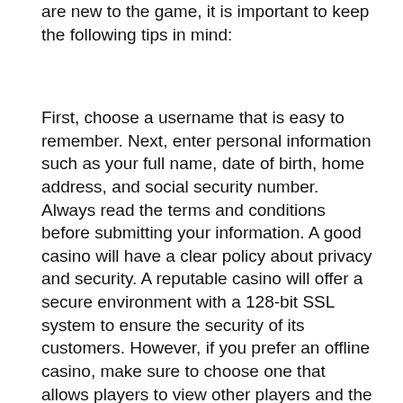are new to the game, it is important to keep the following tips in mind:
First, choose a username that is easy to remember. Next, enter personal information such as your full name, date of birth, home address, and social security number. Always read the terms and conditions before submitting your information. A good casino will have a clear policy about privacy and security. A reputable casino will offer a secure environment with a 128-bit SSL system to ensure the security of its customers. However, if you prefer an offline casino, make sure to choose one that allows players to view other players and the dealers dealing cards.